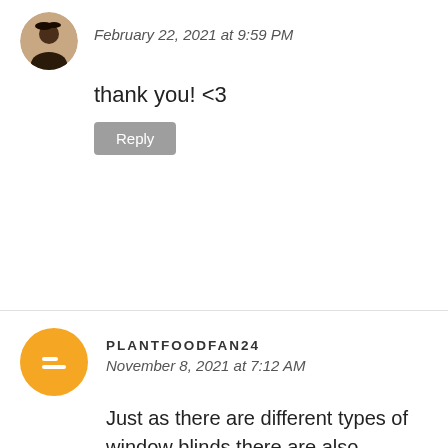[Figure (photo): Circular avatar photo of a person with dark hair]
February 22, 2021 at 9:59 PM
thank you! <3
Reply
[Figure (logo): Orange Blogger icon circle with equals sign]
PLANTFOODFAN24
November 8, 2021 at 7:12 AM
Just as there are different types of window blinds there are also different methods for cleaning each. The simplest types of blinds to clean are those made from aluminium which can be taken care of by simply using a duster or dusting cloth. https://www.w3onlineshopping.com/best-duster-for-blinds/